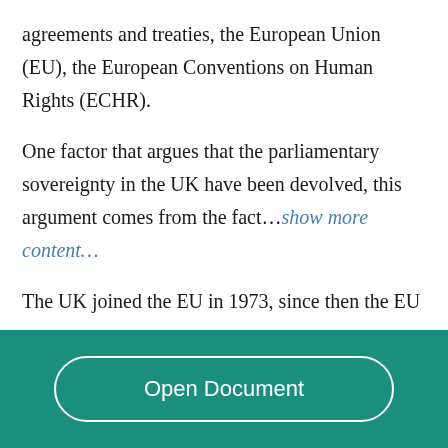agreements and treaties, the European Union (EU), the European Conventions on Human Rights (ECHR).
One factor that argues that the parliamentary sovereignty in the UK have been devolved, this argument comes from the fact…show more content…
The UK joined the EU in 1973, since then the EU
Open Document